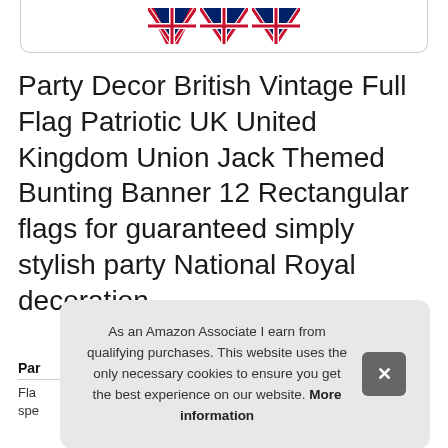[Figure (photo): Union Jack bunting flags partially visible at top of page, showing red, white and blue UK flag pattern triangular pennants]
Party Decor British Vintage Full Flag Patriotic UK United Kingdom Union Jack Themed Bunting Banner 12 Rectangular flags for guaranteed simply stylish party National Royal decoration
Par...
Fla...
spe...
As an Amazon Associate I earn from qualifying purchases. This website uses the only necessary cookies to ensure you get the best experience on our website. More information